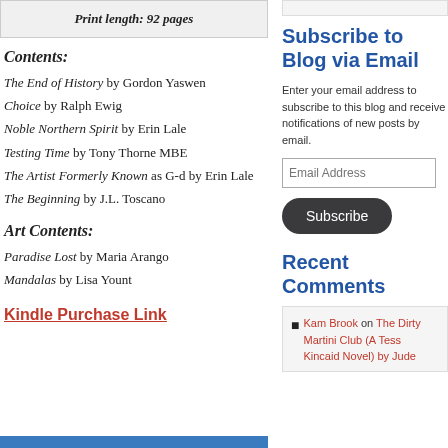Print length: 92 pages
Contents:
The End of History by Gordon Yaswen
Choice by Ralph Ewig
Noble Northern Spirit by Erin Lale
Testing Time by Tony Thorne MBE
The Artist Formerly Known as G-d by Erin Lale
The Beginning by J.L. Toscano
Art Contents:
Paradise Lost by Maria Arango
Mandalas by Lisa Yount
Kindle Purchase Link
Subscribe to Blog via Email
Enter your email address to subscribe to this blog and receive notifications of new posts by email.
Email Address
Subscribe
Recent Comments
Kam Brook on The Dirty Martini Club (A Tess Kincaid Novel) by Jude